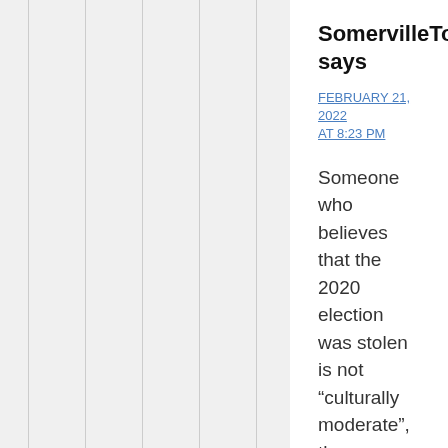SomervilleTom says
FEBRUARY 21, 2022 AT 8:23 PM
Someone who believes that the 2020 election was stolen is not “culturally moderate”, they are delusional.
Facts are facts. The 2020 election was not stolen. The